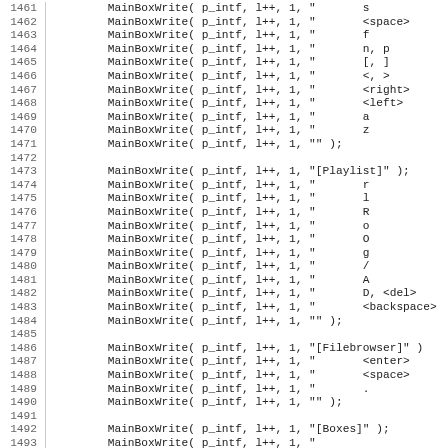Code listing lines 1461-1493, C source code with MainBoxWrite calls
1461    MainBoxWrite( p_intf, l++, 1, "       s
1462    MainBoxWrite( p_intf, l++, 1, "       <space>
1463    MainBoxWrite( p_intf, l++, 1, "       f
1464    MainBoxWrite( p_intf, l++, 1, "       n, p
1465    MainBoxWrite( p_intf, l++, 1, "       [, ]
1466    MainBoxWrite( p_intf, l++, 1, "       <, >
1467    MainBoxWrite( p_intf, l++, 1, "       <right>
1468    MainBoxWrite( p_intf, l++, 1, "       <left>
1469    MainBoxWrite( p_intf, l++, 1, "       a
1470    MainBoxWrite( p_intf, l++, 1, "       z
1471    MainBoxWrite( p_intf, l++, 1, "" );
1472
1473    MainBoxWrite( p_intf, l++, 1, "[Playlist]" );
1474    MainBoxWrite( p_intf, l++, 1, "       r
1475    MainBoxWrite( p_intf, l++, 1, "       l
1476    MainBoxWrite( p_intf, l++, 1, "       R
1477    MainBoxWrite( p_intf, l++, 1, "       o
1478    MainBoxWrite( p_intf, l++, 1, "       O
1479    MainBoxWrite( p_intf, l++, 1, "       g
1480    MainBoxWrite( p_intf, l++, 1, "       /
1481    MainBoxWrite( p_intf, l++, 1, "       A
1482    MainBoxWrite( p_intf, l++, 1, "       D, <del>
1483    MainBoxWrite( p_intf, l++, 1, "       <backspace>
1484    MainBoxWrite( p_intf, l++, 1, "" );
1485
1486    MainBoxWrite( p_intf, l++, 1, "[Filebrowser]" );
1487    MainBoxWrite( p_intf, l++, 1, "       <enter>
1488    MainBoxWrite( p_intf, l++, 1, "       <space>
1489    MainBoxWrite( p_intf, l++, 1, "       .
1490    MainBoxWrite( p_intf, l++, 1, "" );
1491
1492    MainBoxWrite( p_intf, l++, 1, "[Boxes]" );
1493    MainBoxWrite( p_intf, l++, 1, "...